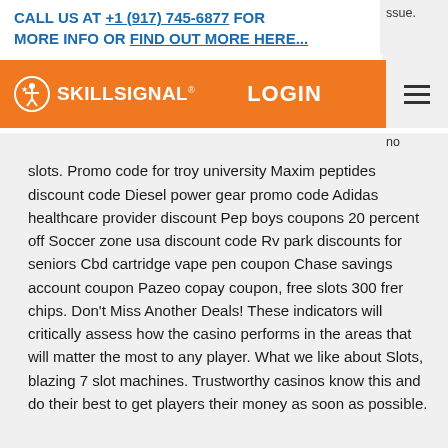CALL US AT +1 (917) 745-6877 FOR MORE INFO OR FIND OUT MORE HERE...
[Figure (logo): SkillSignal orange navigation bar with logo and LOGIN button]
slots. Promo code for troy university Maxim peptides discount code Diesel power gear promo code Adidas healthcare provider discount Pep boys coupons 20 percent off Soccer zone usa discount code Rv park discounts for seniors Cbd cartridge vape pen coupon Chase savings account coupon Pazeo copay coupon, free slots 300 frer chips. Don't Miss Another Deals! These indicators will critically assess how the casino performs in the areas that will matter the most to any player. What we like about Slots, blazing 7 slot machines. Trustworthy casinos know this and do their best to get players their money as soon as possible.